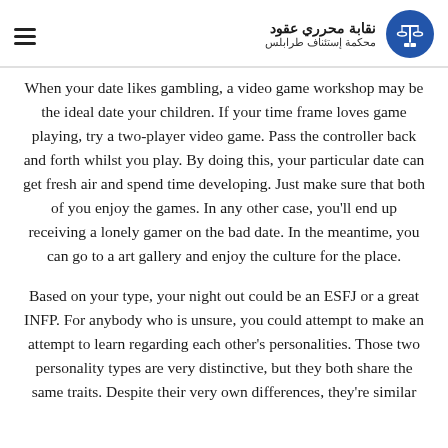نقابة محرري عقود | محكمة إستئناف طرابلس
When your date likes gambling, a video game workshop may be the ideal date your children. If your time frame loves game playing, try a two-player video game. Pass the controller back and forth whilst you play. By doing this, your particular date can get fresh air and spend time developing. Just make sure that both of you enjoy the games. In any other case, you'll end up receiving a lonely gamer on the bad date. In the meantime, you can go to a art gallery and enjoy the culture for the place.
Based on your type, your night out could be an ESFJ or a great INFP. For anybody who is unsure, you could attempt to make an attempt to learn regarding each other's personalities. Those two personality types are very distinctive, but they both share the same traits. Despite their very own differences, they're similar